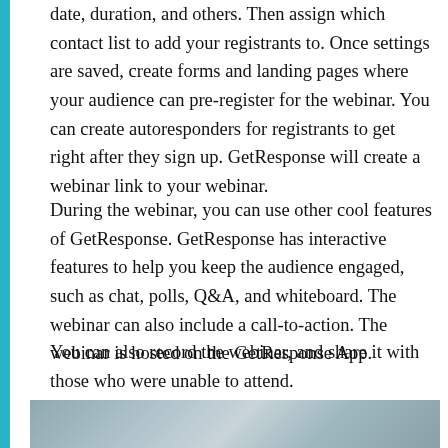date, duration, and others. Then assign which contact list to add your registrants to. Once settings are saved, create forms and landing pages where your audience can pre-register for the webinar. You can create autoresponders for registrants to get right after they sign up. GetResponse will create a webinar link to your webinar.
During the webinar, you can use other cool features of GetResponse. GetResponse has interactive features to help you keep the audience engaged, such as chat, polls, Q&A, and whiteboard. The webinar can also include a call-to-action. The webinar is hosted on the GetResponse App.
You can also record the webinar, and share it with those who were unable to attend.
[Figure (photo): Photo of two people in a casual setting, one holding a white mug, partially cropped at the bottom of the page.]